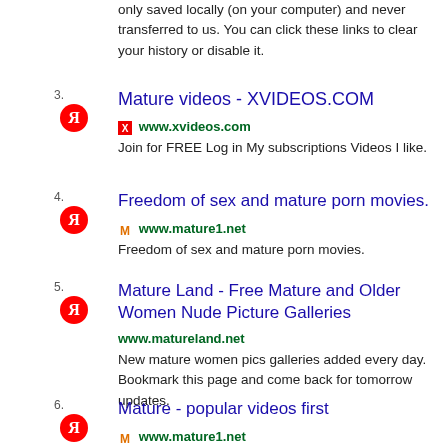only saved locally (on your computer) and never transferred to us. You can click these links to clear your history or disable it.
3. Mature videos - XVIDEOS.COM
www.xvideos.com
Join for FREE Log in My subscriptions Videos I like.
4. Freedom of sex and mature porn movies.
www.mature1.net
Freedom of sex and mature porn movies.
5. Mature Land - Free Mature and Older Women Nude Picture Galleries
www.matureland.net
New mature women pics galleries added every day. Bookmark this page and come back for tomorrow updates.
6. Mature - popular videos first
www.mature1.net